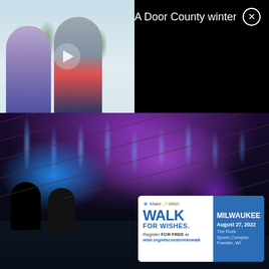[Figure (photo): Two people cross-country skiing in a snowy forest, Door County winter scene with video play button overlay]
A Door County winter
[Figure (photo): Concert stage photo with purple and blue lights, musicians performing, possibly an outdoor amphitheater]
[Figure (infographic): Make-A-Wish Walk For Wishes advertisement. MILWAUKEE, August 27, 2022, The Rock Sports Complex, Franklin, WI. Register FOR FREE at wish.org/wisconsin/mkewalk]